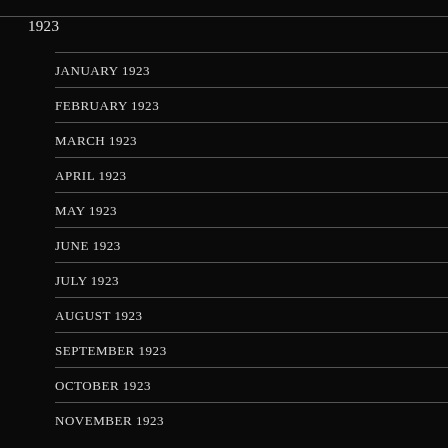1923
JANUARY 1923
FEBRUARY 1923
MARCH 1923
APRIL 1923
MAY 1923
JUNE 1923
JULY 1923
AUGUST 1923
SEPTEMBER 1923
OCTOBER 1923
NOVEMBER 1923